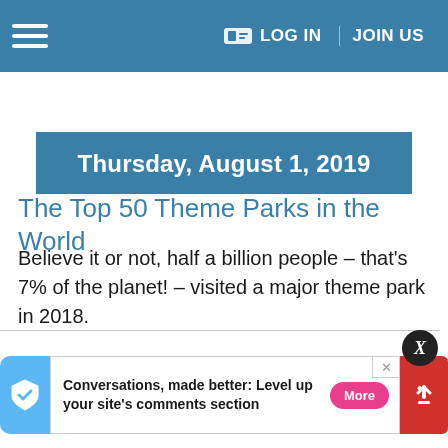LOG IN  JOIN US
Thursday, August 1, 2019
The Top 50 Theme Parks in the World
Believe it or not, half a billion people – that's 7% of the planet! – visited a major theme park in 2018.
by David Mumpower
Conversations, made better: Level up your site's comments section